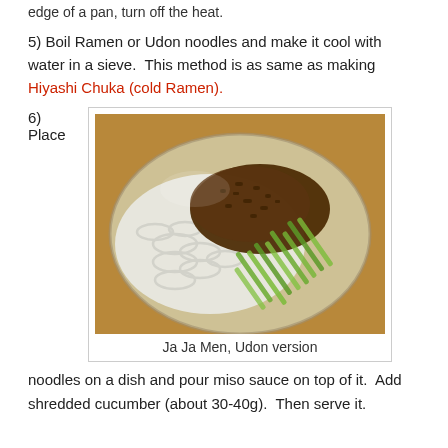edge of a pan, turn off the heat.
5) Boil Ramen or Udon noodles and make it cool with water in a sieve.  This method is as same as making Hiyashi Chuka (cold Ramen).
6) Place
[Figure (photo): A plate of Ja Ja Men noodles (Udon version) with miso meat sauce on top and shredded cucumber arranged on the side.]
Ja Ja Men, Udon version
noodles on a dish and pour miso sauce on top of it.  Add shredded cucumber (about 30-40g).  Then serve it.